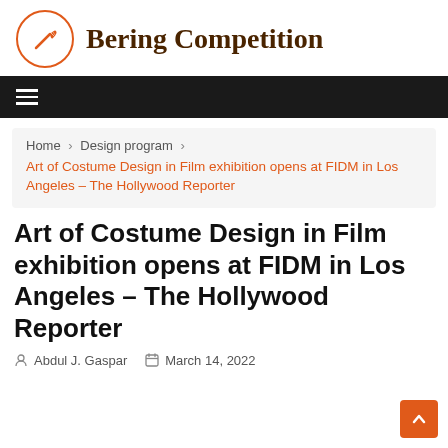Bering Competition
Home > Design program > Art of Costume Design in Film exhibition opens at FIDM in Los Angeles – The Hollywood Reporter
Art of Costume Design in Film exhibition opens at FIDM in Los Angeles – The Hollywood Reporter
Abdul J. Gaspar   March 14, 2022